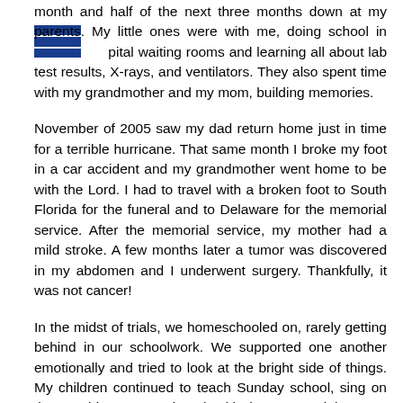month and half of the next three months down at my parents. My little ones were with me, doing school in hospital waiting rooms and learning all about lab test results, X-rays, and ventilators. They also spent time with my grandmother and my mom, building memories.
November of 2005 saw my dad return home just in time for a terrible hurricane. That same month I broke my foot in a car accident and my grandmother went home to be with the Lord. I had to travel with a broken foot to South Florida for the funeral and to Delaware for the memorial service. After the memorial service, my mother had a mild stroke. A few months later a tumor was discovered in my abdomen and I underwent surgery. Thankfully, it was not cancer!
In the midst of trials, we homeschooled on, rarely getting behind in our schoolwork. We supported one another emotionally and tried to look at the bright side of things. My children continued to teach Sunday school, sing on the worship team, and work with the teens' ministry. My husband continued to pastor and I